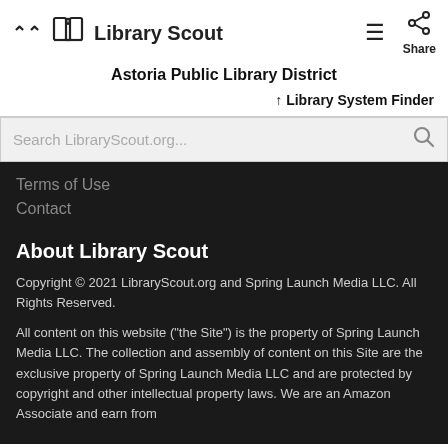Library Scout
Astoria Public Library District
↑ Library System Finder
Search LibraryScout.org...
Terms of Use
Contact
About Library Scout
Copyright © 2021 LibraryScout.org and Spring Launch Media LLC. All Rights Reserved.
All content on this website ("the Site") is the property of Spring Launch Media LLC. The collection and assembly of content on this Site are the exclusive property of Spring Launch Media LLC and are protected by copyright and other intellectual property laws. We are an Amazon Associate and earn from